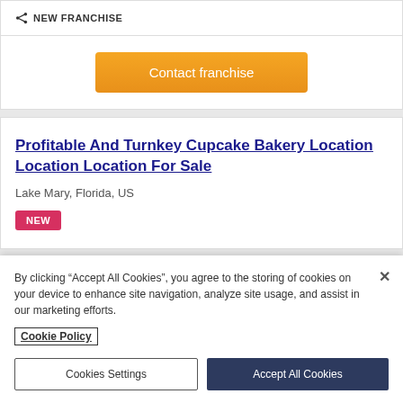NEW FRANCHISE
Contact franchise
Profitable And Turnkey Cupcake Bakery Location Location Location For Sale
Lake Mary, Florida, US
NEW
By clicking “Accept All Cookies”, you agree to the storing of cookies on your device to enhance site navigation, analyze site usage, and assist in our marketing efforts.
Cookie Policy
Cookies Settings
Accept All Cookies